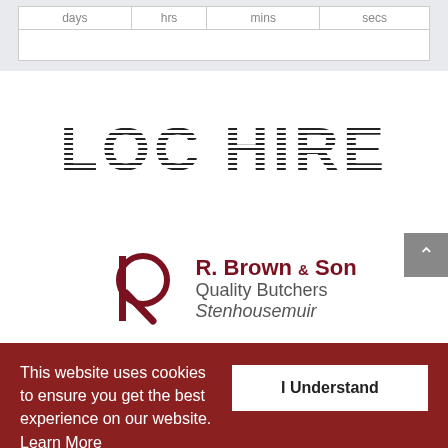| days | hrs | mins | secs |
| --- | --- | --- | --- |
|   |   |   |   |
[Figure (logo): LOC HIRE logo text in striped/lined bold font]
[Figure (logo): R. Brown & Son Quality Butchers Stenhousemuir logo with circular rb icon in dark red]
This website uses cookies to ensure you get the best experience on our website. Learn More
I Understand